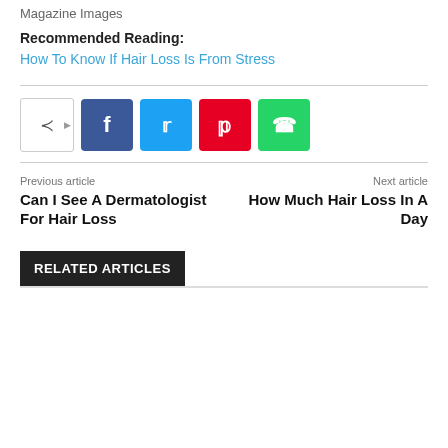Magazine Images
Recommended Reading:
How To Know If Hair Loss Is From Stress
[Figure (other): Social share buttons: share toggle, Facebook, Twitter, Pinterest, WhatsApp]
Previous article
Can I See A Dermatologist For Hair Loss
Next article
How Much Hair Loss In A Day
RELATED ARTICLES